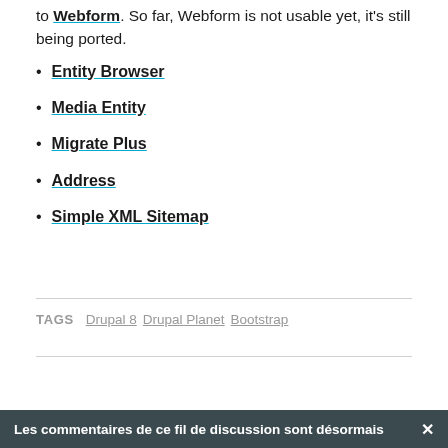to Webform. So far, Webform is not usable yet, it's still being ported.
Entity Browser
Media Entity
Migrate Plus
Address
Simple XML Sitemap
TAGS  Drupal 8  Drupal Planet  Bootstrap
Les commentaires de ce fil de discussion sont désormais